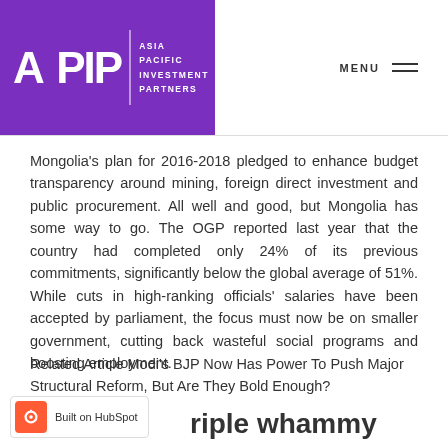APIP Asia Pacific Investment Partners | MENU
Mongolia’s plan for 2016-2018 pledged to enhance budget transparency around mining, foreign direct investment and public procurement. All well and good, but Mongolia has some way to go. The OGP reported last year that the country had completed only 24% of its previous commitments, significantly below the global average of 51%. While cuts in high-ranking officials’ salaries have been accepted by parliament, the focus must now be on smaller government, cutting back wasteful social programs and boosting employment.
Related Article Modi’s BJP Now Has Power To Push Major Structural Reform, But Are They Bold Enough?
riple whammy